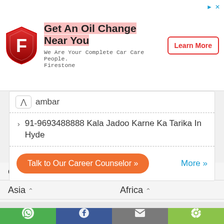[Figure (screenshot): Firestone advertisement banner with shield logo, 'Get An Oil Change Near You' headline, 'We Are Your Complete Car Care People. Firestone' subtext, and 'Learn More' button]
ambar
91-9693488888 Kala Jadoo Karne Ka Tarika In Hyde
Talk to Our Career Counselor »
More »
Our Network :
Asia ^
Africa ^
Europe ^
North America ^
South America ^